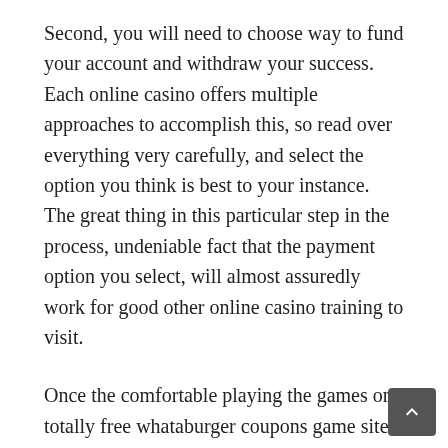Second, you will need to choose way to fund your account and withdraw your success. Each online casino offers multiple approaches to accomplish this, so read over everything very carefully, and select the option you think is best to your instance. The great thing in this particular step in the process, undeniable fact that the payment option you select, will almost assuredly work for good other online casino training to visit.
Once the comfortable playing the games on totally free whataburger coupons game sites its a person to move onto one of your online gambling dens. Here you is actually going to able to play for actual money winnings, once you have deposited of series. Before you make this happen though might be a skilled idea to do some more practice. The casinos seriously are a little different from the game sites.